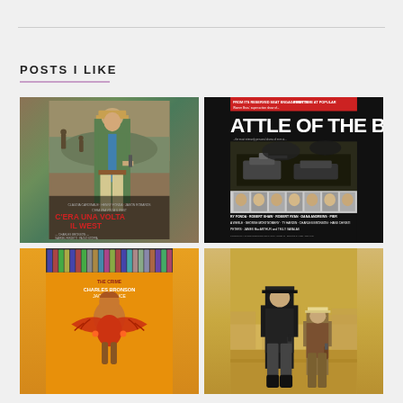POSTS I LIKE
[Figure (photo): Movie poster for 'C'era una volta il West' (Once Upon a Time in the West) showing a man in a hat and green jacket holding a gun. Text includes: CLAUDIA CARDINALE, HENRY FONDA, JASON ROBARDS, C'ERA UNA VOLTA IL WEST, CHARLES BRONSON, GABRIEL FERZETTI, PAOLO STOPPA]
[Figure (photo): Movie poster for 'Battle of the Bulge' with text 'FROM ITS RESERVED SEAT ENGAGEMENTS! FIRST TIME AT POPULAR' and 'Warner Bros. super action show of...' and cast: RY FONDA, ROBERT SHAW, ROBERT RYAN, DANA ANDREWS, PIER A WERLE, GEORGE MONTGOMERY, TY HARDIN, CHARLES BRONSON, HANS CHRISTI, PETERS, JAMES MacARTHUR and TELLY SAVALAS]
[Figure (photo): Movie poster featuring CHARLES BRONSON and JACK PALANCE with a Native American figure and eagle imagery on an orange/yellow background, with a shelf of videos/DVDs visible at top]
[Figure (photo): Western movie image showing two gunfighters from behind, one in a black vest and hat, another in a white/light hat, on a dusty town street with golden/sepia tones]